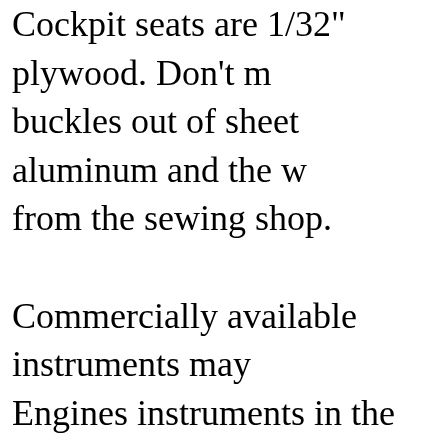Cockpit seats are 1/32" plywood. Don't make buckles out of sheet aluminum and the w from the sewing shop. Commercially available instruments may Engines instruments in the rear cockpit o purchase instruments, you must list them under "parts not constructed by builder" a points. They can be made using photogra faces with frames fashioned from bits of Fuselage construction resumes after all c details are complete. There are no stringe and the cockpit is not done th